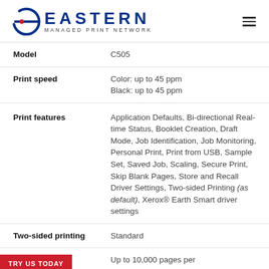Eastern Managed Print Network
| Specification | Value |
| --- | --- |
| Model | C505 |
| Print speed | Color: up to 45 ppm
Black: up to 45 ppm |
| Print features | Application Defaults, Bi-directional Real-time Status, Booklet Creation, Draft Mode, Job Identification, Job Monitoring, Personal Print, Print from USB, Sample Set, Saved Job, Scaling, Secure Print, Skip Blank Pages, Store and Recall Driver Settings, Two-sided Printing (as default), Xerox® Earth Smart driver settings |
| Two-sided printing | Standard |
| Recommended | Up to 10,000 pages per |